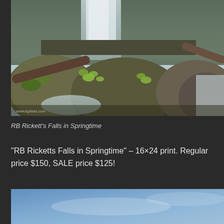[Figure (photo): Waterfall scene at Ricketts Falls in springtime — cascading white water falls over rocky ledges in the background, with moss-covered boulders, fallen logs, and small green leafing trees in the foreground. Rocky stream in the foreground with flowing water.]
RB Rickett's Falls in Springtime
“RB Ricketts Falls in Springtime” – 16×24 print. Regular price $150, SALE price $125!
[Figure (photo): Partial view of a sky or landscape photograph — predominantly blue-grey gradient sky, bottom of image partially cut off.]